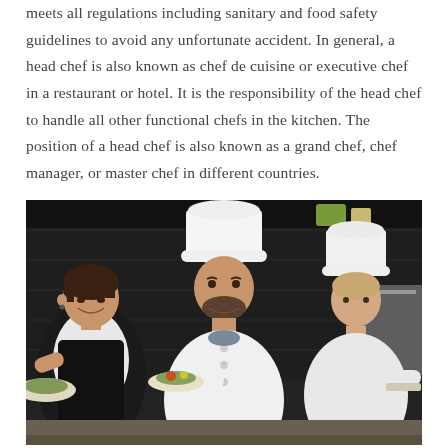meets all regulations including sanitary and food safety guidelines to avoid any unfortunate accident. In general, a head chef is also known as chef de cuisine or executive chef in a restaurant or hotel. It is the responsibility of the head chef to handle all other functional chefs in the kitchen. The position of a head chef is also known as a grand chef, chef manager, or master chef in different countries.
[Figure (photo): Three chefs in a professional kitchen. A woman in a black apron on the left smiling, a male chef in the center wearing a white chef's hat and uniform holding a plate of food, and another chef in the background also in white uniform and hat.]